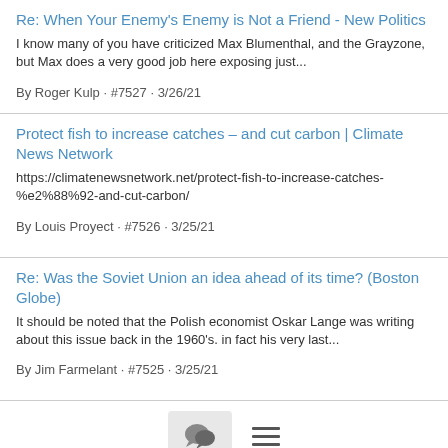Re: When Your Enemy's Enemy is Not a Friend - New Politics
I know many of you have criticized Max Blumenthal, and the Grayzone, but Max does a very good job here exposing just...
By Roger Kulp · #7527 · 3/26/21
Protect fish to increase catches – and cut carbon | Climate News Network
https://climatenewsnetwork.net/protect-fish-to-increase-catches-%e2%88%92-and-cut-carbon/
By Louis Proyect · #7526 · 3/25/21
Re: Was the Soviet Union an idea ahead of its time? (Boston Globe)
It should be noted that the Polish economist Oskar Lange was writing about this issue back in the 1960's. in fact his very last...
By Jim Farmelant · #7525 · 3/25/21
[Figure (other): Footer bar with a chat bubble icon button and a hamburger menu icon]